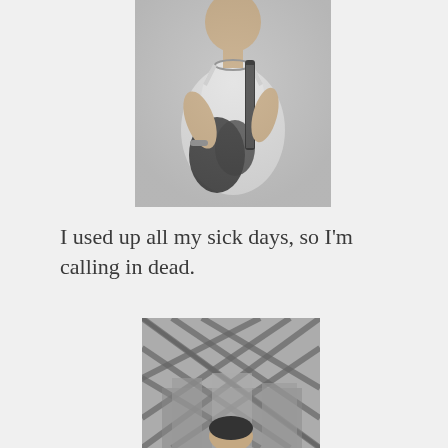[Figure (photo): Black and white vintage photograph of a woman in a dress playing an electric guitar, seated, with a necklace and bracelet visible.]
I used up all my sick days, so I’m calling in dead.
[Figure (photo): Black and white vintage aerial-perspective photograph showing a person looking down through a lattice or grid structure, with a cityscape or large building visible below.]